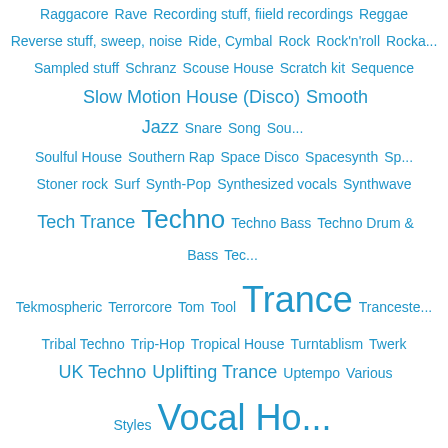Raggacore  Rave  Recording stuff, fiield recordings  Reggae  Reverse stuff, sweep, noise  Ride, Cymbal  Rock  Rock'n'roll  Rocka...  Sampled stuff  Schranz  Scouse House  Scratch kit  Sequence  Slow Motion House (Disco)  Smooth Jazz  Snare  Song  Sou...  Soulful House  Southern Rap  Space Disco  Spacesynth  Sp...  Stoner rock  Surf  Synth-Pop  Synthesized vocals  Synthwave  Tech Trance  Techno  Techno Bass  Techno Drum & Bass  Tec...  Tekmospheric  Terrorcore  Tom  Tool  Trance  Tranceste...  Tribal Techno  Trip-Hop  Tropical House  Turntablism  Twerk  UK Techno  Uplifting Trance  Uptempo  Various Styles  Vocal Ho...  Voice Fx  West Coast Rap  Witch House  Wonky  Wood, knock  Аналитика  Интервью  Новости  Обзор  Ра...
super-search ;)
Sort by  rating  date
[Figure (photo): Thumbnail photo of Mad-Fox DJ with sunglasses, colorful background]
Mad - Fox Breaks
Subscribe on iTunes: LINK Telegram channel: LINK
[Figure (photo): Dark thumbnail with white digital/circuit art for iDOLEAST]
iDOLEAST Drum & Bass